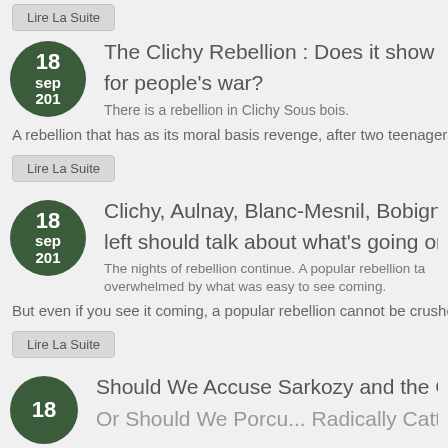Lire La Suite
The Clichy Rebellion : Does it show the [need] for people's war?
There is a rebellion in Clichy Sous bois.
A rebellion that has as its moral basis revenge, after two teenagers die
Lire La Suite
Clichy, Aulnay, Blanc-Mesnil, Bobigny... the left should talk about what's going on
The nights of rebellion continue. A popular rebellion ta... overwhelmed by what was easy to see coming.
But even if you see it coming, a popular rebellion cannot be crushed, fo
Lire La Suite
Should We Accuse Sarkozy and the Gov...